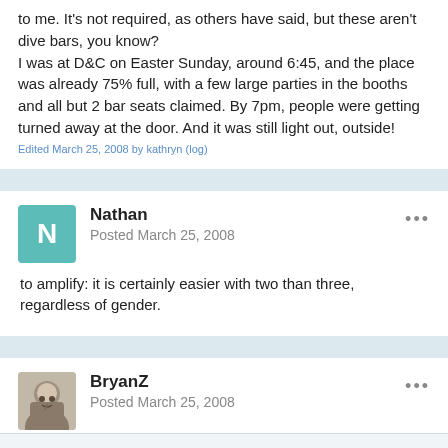to me. It's not required, as others have said, but these aren't dive bars, you know?
I was at D&C on Easter Sunday, around 6:45, and the place was already 75% full, with a few large parties in the booths and all but 2 bar seats claimed. By 7pm, people were getting turned away at the door. And it was still light out, outside!
Edited March 25, 2008 by kathryn (log)
Nathan
Posted March 25, 2008
to amplify: it is certainly easier with two than three, regardless of gender.
BryanZ
Posted March 25, 2008